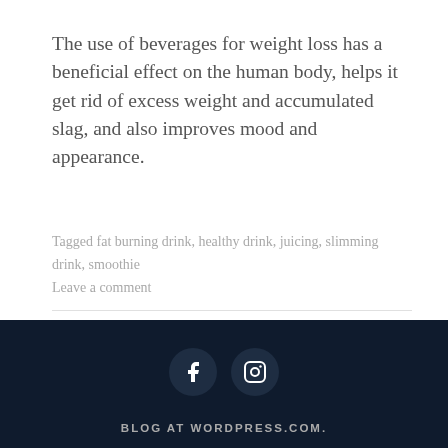The use of beverages for weight loss has a beneficial effect on the human body, helps it get rid of excess weight and accumulated slag, and also improves mood and appearance.
Tagged fat burning drink, healthy drink, juicing, slimming drink, smoothie
Leave a comment
[Figure (other): Social media icons: Facebook and Instagram circular buttons in dark navy background]
BLOG AT WORDPRESS.COM.